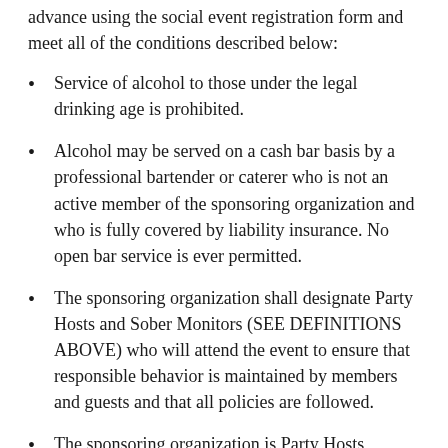advance using the social event registration form and meet all of the conditions described below:
Service of alcohol to those under the legal drinking age is prohibited.
Alcohol may be served on a cash bar basis by a professional bartender or caterer who is not an active member of the sponsoring organization and who is fully covered by liability insurance. No open bar service is ever permitted.
The sponsoring organization shall designate Party Hosts and Sober Monitors (SEE DEFINITIONS ABOVE) who will attend the event to ensure that responsible behavior is maintained by members and guests and that all policies are followed.
The sponsoring organization is Party Hosts responsible for